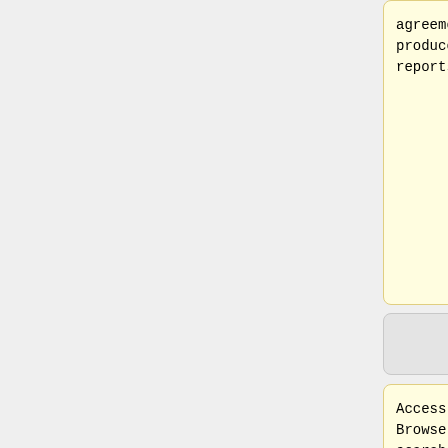agreements; produce reports
increasing levels of user control and power. Key features include:
Access : Browse, search and download files and records using powerful interface.
* '''Ingest:''' local tool to create SIPs and attach metadata and transfer to server; range of workflows to upload container files ; ZI P